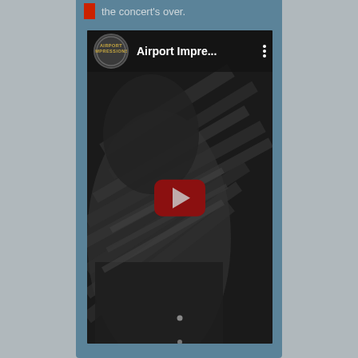the concert's over.
[Figure (screenshot): Embedded YouTube video player showing 'Airport Impressions' channel with a dark thumbnail of a person in striped clothing and a YouTube play button overlay]